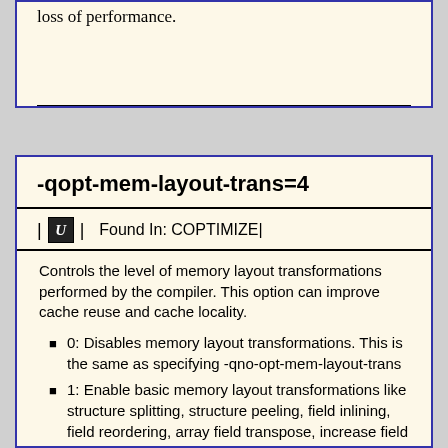loss of performance.
-qopt-mem-layout-trans=4
Found In: COPTIMIZE
Controls the level of memory layout transformations performed by the compiler. This option can improve cache reuse and cache locality.
0: Disables memory layout transformations. This is the same as specifying -qno-opt-mem-layout-trans
1: Enable basic memory layout transformations like structure splitting, structure peeling, field inlining, field reordering, array field transpose, increase field alignment etc.